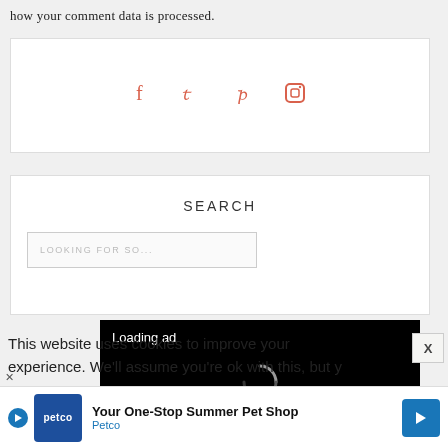how your comment data is processed.
[Figure (other): Social media icons box: Facebook, Twitter, Pinterest, Instagram icons in salmon/coral color]
SEARCH
[Figure (screenshot): Search input box with placeholder text LOOKING FOR SO...]
[Figure (screenshot): Black video ad overlay with Loading ad text, spinner, pause, fullscreen, and mute controls]
This website uses cookies to improve your experience. We'll assume you're ok with this, but y
[Figure (other): Bottom banner ad for Petco: Your One-Stop Summer Pet Shop with Petco logo and blue arrow button]